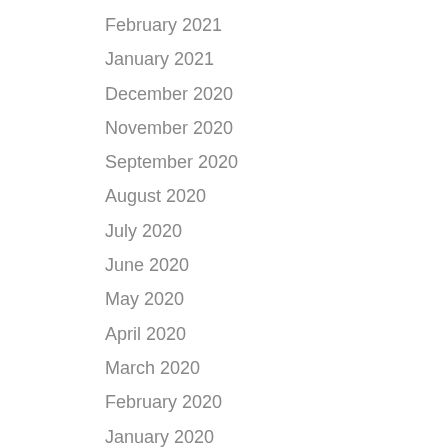February 2021
January 2021
December 2020
November 2020
September 2020
August 2020
July 2020
June 2020
May 2020
April 2020
March 2020
February 2020
January 2020
December 2019
November 2019